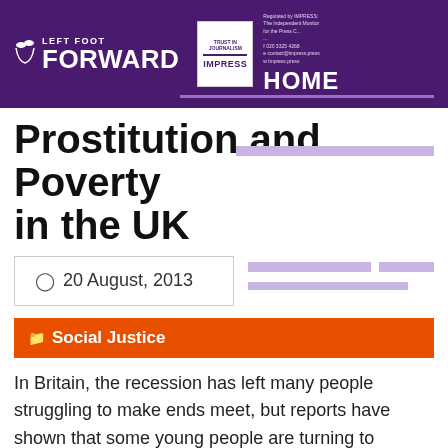Left Foot Forward | Trust in Journalism IMPRESS | HOME
Prostitution and Poverty in the UK
20 August, 2013
Social Justice
In Britain, the recession has left many people struggling to make ends meet, but reports have shown that some young people are turning to prostitution in pursuit of financial security.
[Figure (illustration): Bottom purple banner with semi-transparent circular dots decorative element]